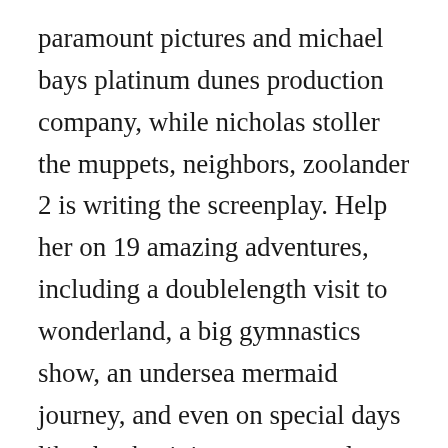paramount pictures and michael bays platinum dunes production company, while nicholas stoller the muppets, neighbors, zoolander 2 is writing the screenplay. Help her on 19 amazing adventures, including a doublelength visit to wonderland, a big gymnastics show, an undersea mermaid journey, and even on special days like thanksgiving, easter, and more. Dora and the lost city of gold is moving again, but not by that much. Dora and boots are on an indiana joneslike adventure as they race through the number pyramid and the jumbled jungle to